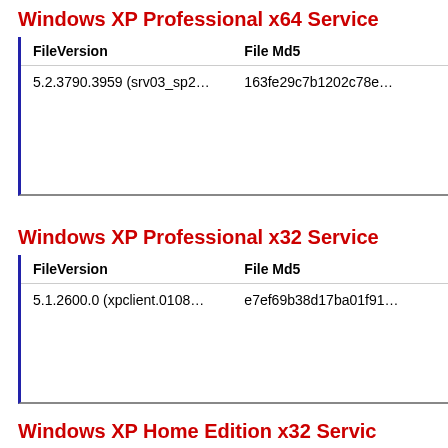Windows XP Professional x64 Service
| FileVersion | File Md5 |
| --- | --- |
| 5.2.3790.3959 (srv03_sp2… | 163fe29c7b1202c78e… |
Windows XP Professional x32 Service
| FileVersion | File Md5 |
| --- | --- |
| 5.1.2600.0 (xpclient.0108… | e7ef69b38d17ba01f91… |
Windows XP Home Edition x32 Servic